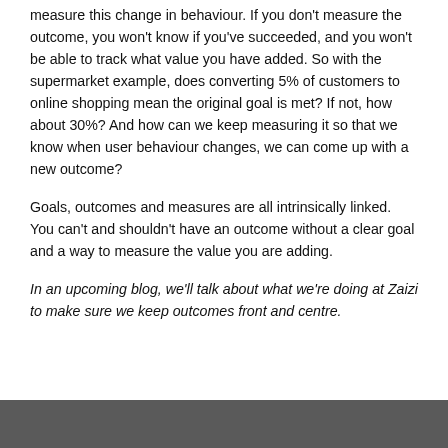measure this change in behaviour. If you don't measure the outcome, you won't know if you've succeeded, and you won't be able to track what value you have added. So with the supermarket example, does converting 5% of customers to online shopping mean the original goal is met? If not, how about 30%? And how can we keep measuring it so that we know when user behaviour changes, we can come up with a new outcome?
Goals, outcomes and measures are all intrinsically linked. You can't and shouldn't have an outcome without a clear goal and a way to measure the value you are adding.
In an upcoming blog, we'll talk about what we're doing at Zaizi to make sure we keep outcomes front and centre.